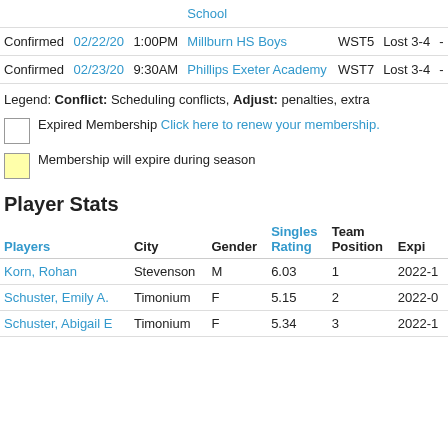| Status | Date | Time | Opponent | Level | Result |  |
| --- | --- | --- | --- | --- | --- | --- |
|  |  |  | School |  |  |  |
| Confirmed | 02/22/20 | 1:00PM | Millburn HS Boys | WST5 | Lost 3-4 | - |
| Confirmed | 02/23/20 | 9:30AM | Phillips Exeter Academy | WST7 | Lost 3-4 | - |
Legend: Conflict: Scheduling conflicts, Adjust: penalties, extra
Expired Membership Click here to renew your membership.
Membership will expire during season
Player Stats
| Players | City | Gender | Singles Rating | Team Position | Expi |
| --- | --- | --- | --- | --- | --- |
| Korn, Rohan | Stevenson | M | 6.03 | 1 | 2022-1 |
| Schuster, Emily A. | Timonium | F | 5.15 | 2 | 2022-0 |
| Schuster, Abigail E | Timonium | F | 5.34 | 3 | 2022-1 |